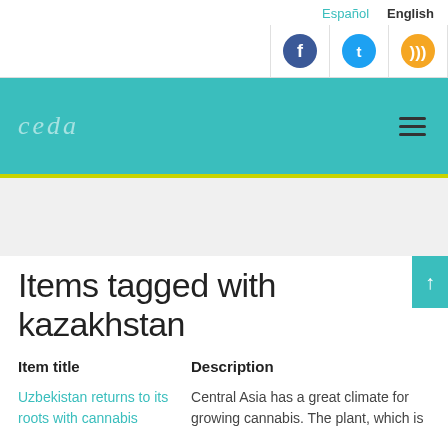Español  English
[Figure (other): Social media icons: Facebook (blue circle), Twitter (blue circle), RSS (orange circle)]
[Figure (logo): Website logo on teal/turquoise header band with hamburger menu icon]
Items tagged with kazakhstan
| Item title | Description |
| --- | --- |
| Uzbekistan returns to its roots with cannabis | Central Asia has a great climate for growing cannabis. The plant, which is |